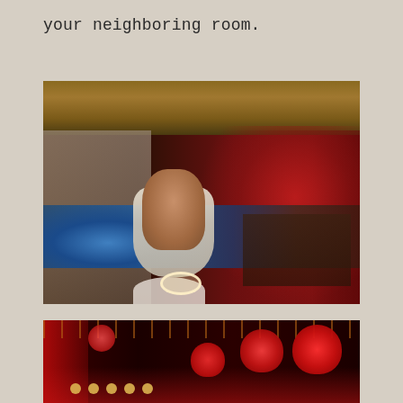your neighboring room.
[Figure (photo): A young woman in a white lace top sitting by a pool at night with red-lit bar area in background and thatched roof above]
[Figure (photo): Red lanterns and lights hanging in a dimly lit bar or restaurant interior with red ambient lighting]